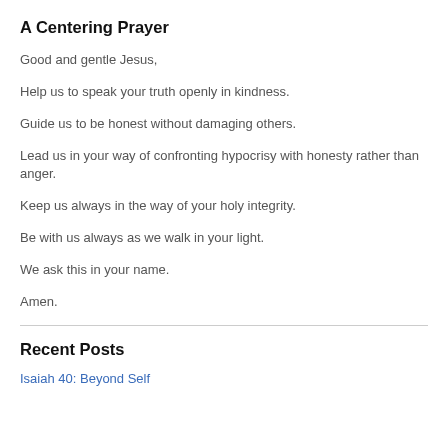A Centering Prayer
Good and gentle Jesus,
Help us to speak your truth openly in kindness.
Guide us to be honest without damaging others.
Lead us in your way of confronting hypocrisy with honesty rather than anger.
Keep us always in the way of your holy integrity.
Be with us always as we walk in your light.
We ask this in your name.
Amen.
Recent Posts
Isaiah 40: Beyond Self